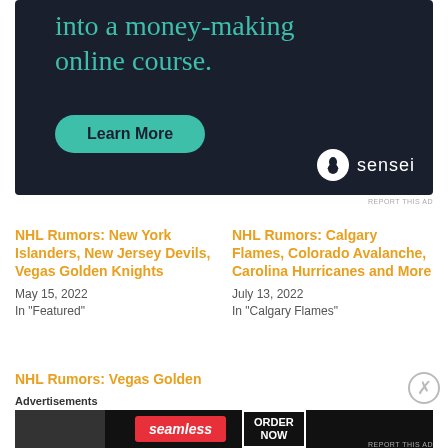[Figure (infographic): Dark navy advertisement banner for Sensei online course platform with teal text reading 'into a money-making online course.' and a teal 'Learn More' button, with Sensei logo in the bottom right.]
REPORT THIS AD
NHL Rumors: New York Islanders, New Jersey Devils, Vegas Golden Knights
May 15, 2022
In "Featured"
NHL Rumors: Calgary Flames, Colorado Avalanche, Carolina Hurricanes and More
July 13, 2022
In "Calgary Flames"
NHL Rumors: Vegas Golden
Advertisements
[Figure (infographic): Seamless food delivery advertisement banner with pizza image on left, red Seamless logo in center, and 'ORDER NOW' button on right, on dark background.]